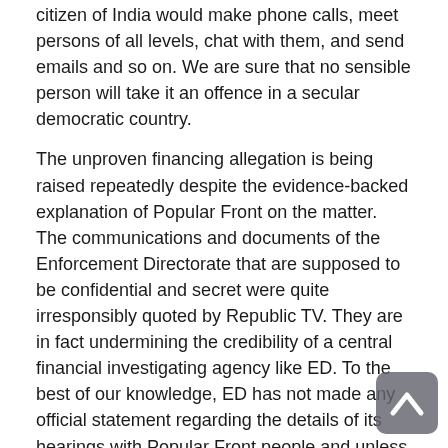citizen of India would make phone calls, meet persons of all levels, chat with them, and send emails and so on. We are sure that no sensible person will take it an offence in a secular democratic country.
The unproven financing allegation is being raised repeatedly despite the evidence-backed explanation of Popular Front on the matter. The communications and documents of the Enforcement Directorate that are supposed to be confidential and secret were quite irresponsibly quoted by Republic TV. They are in fact undermining the credibility of a central financial investigating agency like ED. To the best of our knowledge, ED has not made any official statement regarding the details of its hearings with Popular Front people and unless until endorsed by them, those media are committing an offence that is breach of official secrets. The fact is that none of our leaders tried to evade appearing before ED and as a matter of policy we are cooperating with them as we have done with any other investigating agency on any occasion in the past. We believe that this fact is known to